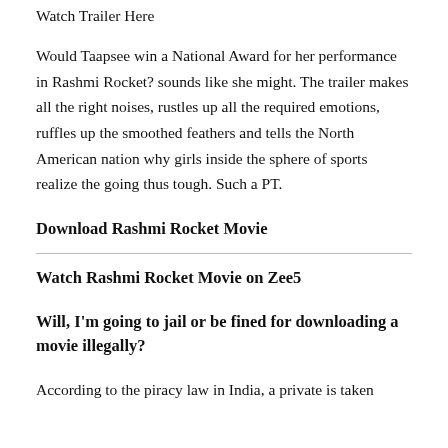Watch Trailer Here
Would Taapsee win a National Award for her performance in Rashmi Rocket? sounds like she might. The trailer makes all the right noises, rustles up all the required emotions, ruffles up the smoothed feathers and tells the North American nation why girls inside the sphere of sports realize the going thus tough. Such a PT.
Download Rashmi Rocket Movie
Watch Rashmi Rocket Movie on Zee5
Will, I'm going to jail or be fined for downloading a movie illegally?
According to the piracy law in India, a private is taken